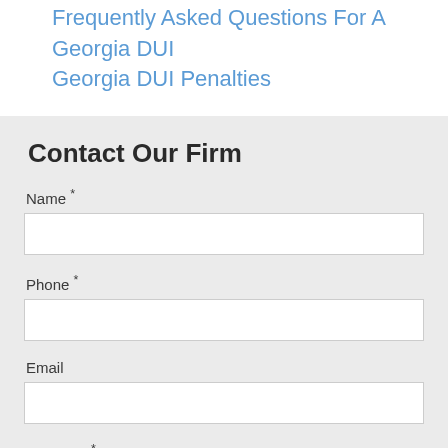Frequently Asked Questions For A Georgia DUI
Georgia DUI Penalties
Contact Our Firm
Name *
Phone *
Email
Message *